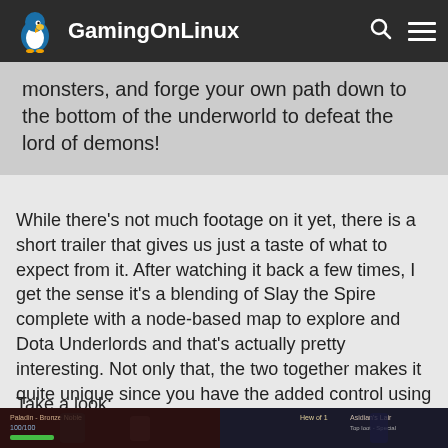GamingOnLinux
monsters, and forge your own path down to the bottom of the underworld to defeat the lord of demons!
While there's not much footage on it yet, there is a short trailer that gives us just a taste of what to expect from it. After watching it back a few times, I get the sense it's a blending of Slay the Spire complete with a node-based map to explore and Dota Underlords and that's actually pretty interesting. Not only that, the two together makes it quite unique since you have the added control using your card collection. I'm very interested to see how this will play out.
Take a look:
[Figure (screenshot): Screenshot of a dark fantasy game UI showing character stats and game interface]